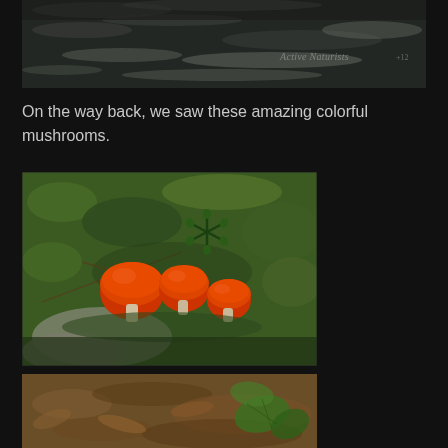[Figure (photo): Aerial or close-up view of dark water with foam/waves, with 'Active Naturists' watermark in lower right]
On the way back, we saw these amazing colorful mushrooms.
[Figure (photo): Close-up photo of three small red/orange mushrooms growing among green moss and vegetation on a forest floor]
[Figure (photo): Partial photo of forest floor with dead leaves and green plant visible at bottom of page]